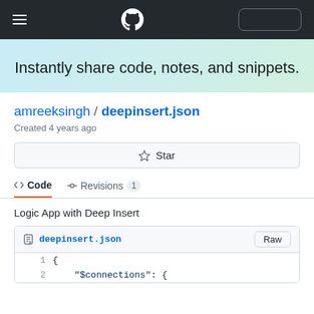GitHub Gist navigation bar with hamburger menu, GitHub logo, and button
Instantly share code, notes, and snippets.
amreeksingh / deepinsert.json
Created 4 years ago
Star
Code | Revisions 1
Logic App with Deep Insert
deepinsert.json  Raw
1   {
2       "$connections": {